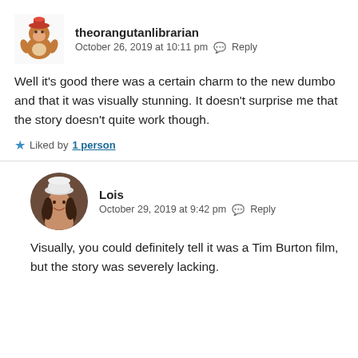[Figure (illustration): Avatar of theorangutanlibrarian: a cartoon orangutan character wearing a red hat]
theorangutanlibrarian
October 26, 2019 at 10:11 pm  Reply
Well it's good there was a certain charm to the new dumbo and that it was visually stunning. It doesn't surprise me that the story doesn't quite work though.
Liked by 1 person
[Figure (photo): Avatar of Lois: a woman wearing a white knit hat, smiling, circular crop]
Lois
October 29, 2019 at 9:42 pm  Reply
Visually, you could definitely tell it was a Tim Burton film, but the story was severely lacking.